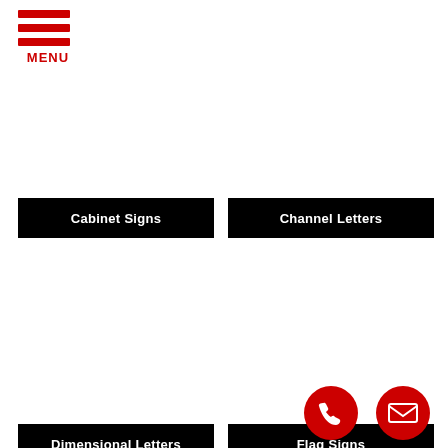[Figure (logo): Red hamburger menu icon with three horizontal red bars and 'MENU' text in red below]
Cabinet Signs
Channel Letters
Dimensional Letters
Flag Signs
[Figure (illustration): Red circular phone button icon (bottom right area)]
[Figure (illustration): Red circular mail/envelope button icon (bottom right)]